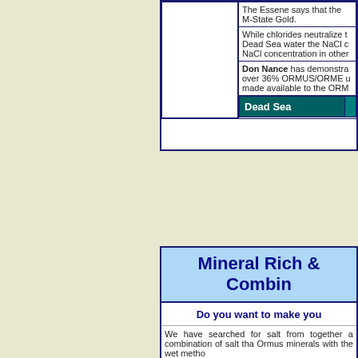|  |  |
| --- | --- |
|  | The Essene says that the M-State Gold. |
|  | While chlorides neutralize the Dead Sea water the NaCl c... NaCl concentration in other |
|  | Don Nance has demonstrated over 36% ORMUS/ORME u... made available to the ORM... |
| Dead Sea |  |
Mineral Rich & Combin...
Do you want to make you...
We have searched for salt from... together a combination of salt tha... Ormus minerals with the wet method...
Available...